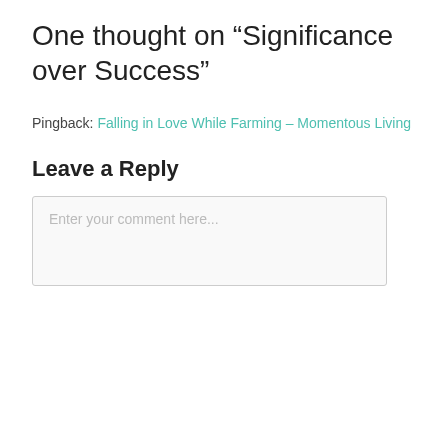One thought on “Significance over Success”
Pingback: Falling in Love While Farming – Momentous Living
Leave a Reply
Enter your comment here...